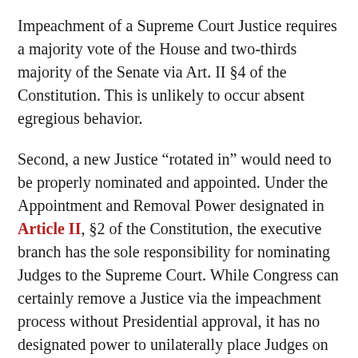Impeachment of a Supreme Court Justice requires a majority vote of the House and two-thirds majority of the Senate via Art. II §4 of the Constitution. This is unlikely to occur absent egregious behavior.
Second, a new Justice “rotated in” would need to be properly nominated and appointed. Under the Appointment and Removal Power designated in Article II, §2 of the Constitution, the executive branch has the sole responsibility for nominating Judges to the Supreme Court. While Congress can certainly remove a Justice via the impeachment process without Presidential approval, it has no designated power to unilaterally place Judges on the Supreme Court without first receiving this nomination from the President. Any attempt by Congress to wield this sort of authority would constitute a separation of powers violation. Congress must instead rely on traditional nomination and hearing processes for an appointment of a